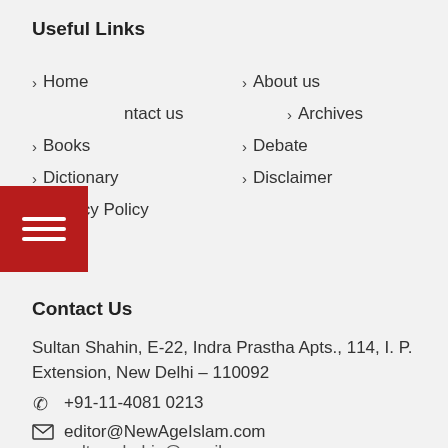Useful Links
> Home
> About us
> Contact us
> Archives
> Books
> Debate
> Dictionary
> Disclaimer
> Privacy Policy
Contact Us
Sultan Shahin, E-22, Indra Prastha Apts., 114, I. P. Extension, New Delhi – 110092
+91-11-4081 0213
editor@NewAgeIslam.com
sultan.shahin@gmail.com